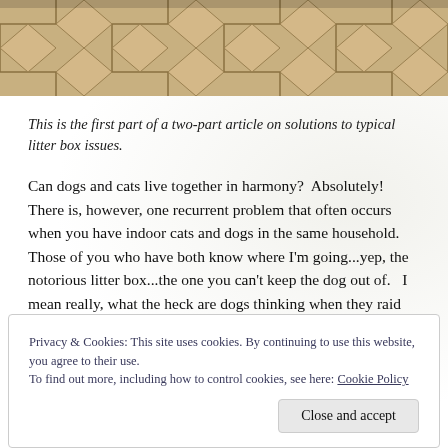[Figure (photo): Photo of ceramic tile floor with geometric diamond pattern in beige/tan tones, partially cut off at top]
This is the first part of a two-part article on solutions to typical litter box issues.
Can dogs and cats live together in harmony?  Absolutely! There is, however, one recurrent problem that often occurs when you have indoor cats and dogs in the same household. Those of you who have both know where I'm going...yep, the notorious litter box...the one you can't keep the dog out of.   I mean really, what the heck are dogs thinking when they raid
Privacy & Cookies: This site uses cookies. By continuing to use this website, you agree to their use.
To find out more, including how to control cookies, see here: Cookie Policy
Close and accept